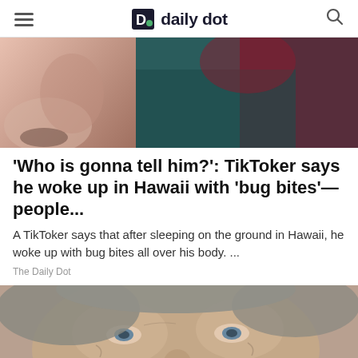daily dot
[Figure (photo): Close-up photo split into two panels: left shows a person's face/chin area with facial hair; right shows a person wearing a dark teal/black top with reddish background]
'Who is gonna tell him?': TikToker says he woke up in Hawaii with 'bug bites'—people...
A TikToker says that after sleeping on the ground in Hawaii, he woke up with bug bites all over his body. ...
The Daily Dot
[Figure (photo): Close-up photo of an older man's face with wrinkled skin, blue/grey eyes, disheveled grey hair, and a small earring; a hand is visible at the bottom right]